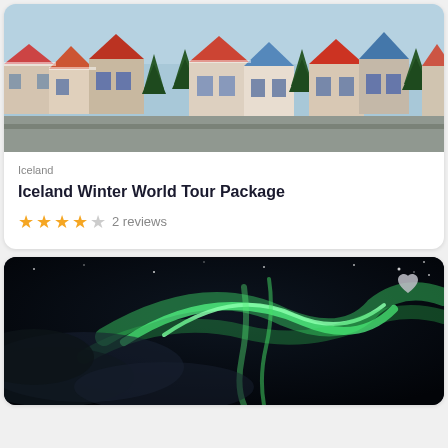[Figure (photo): Aerial view of Reykjavik Iceland cityscape with colorful rooftops and snow-dusted houses, evergreen trees visible]
Iceland
Iceland Winter World Tour Package
★★★★☆ 2 reviews
[Figure (photo): Northern lights (aurora borealis) glowing green against a dark night sky with misty clouds]